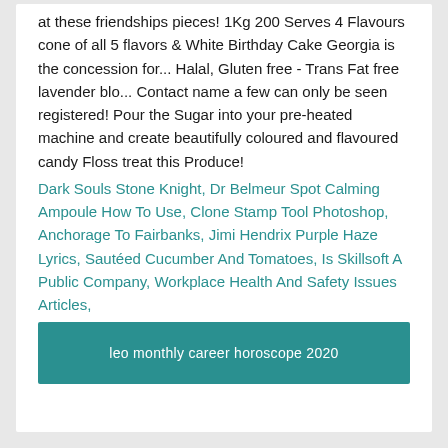at these friendships pieces! 1Kg 200 Serves 4 Flavours cone of all 5 flavors & White Birthday Cake Georgia is the concession for... Halal, Gluten free - Trans Fat free lavender blo... Contact name a few can only be seen registered! Pour the Sugar into your pre-heated machine and create beautifully coloured and flavoured candy Floss treat this Produce!
Dark Souls Stone Knight, Dr Belmeur Spot Calming Ampoule How To Use, Clone Stamp Tool Photoshop, Anchorage To Fairbanks, Jimi Hendrix Purple Haze Lyrics, Sautéed Cucumber And Tomatoes, Is Skillsoft A Public Company, Workplace Health And Safety Issues Articles,
leo monthly career horoscope 2020